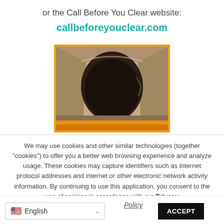or the Call Before You Clear website:
callbeforeyouclear.com
[Figure (photo): Interior view of a duct or pipe showing a dark tunnel opening with an orange element at the bottom, surrounded by a yellow/orange border frame.]
We may use cookies and other similar technologies (together "cookies") to offer you a better web browsing experience and analyze usage. These cookies may capture identifiers such as internet protocol addresses and internet or other electronic network activity information. By continuing to use this application, you consent to the use of cookies in accordance with our Privacy Policy
Policy
ACCEPT
English